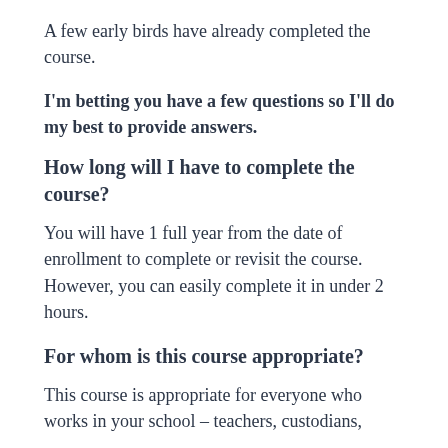A few early birds have already completed the course.
I'm betting you have a few questions so I'll do my best to provide answers.
How long will I have to complete the course?
You will have 1 full year from the date of enrollment to complete or revisit the course. However, you can easily complete it in under 2 hours.
For whom is this course appropriate?
This course is appropriate for everyone who works in your school – teachers, custodians,